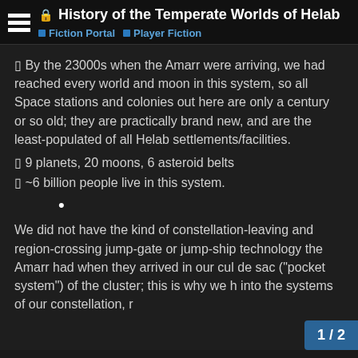History of the Temperate Worlds of Helab
Fiction Portal   Player Fiction
▯ By the 23000s when the Amarr were arriving, we had reached every world and moon in this system, so all Space stations and colonies out here are only a century or so old; they are practically brand new, and are the least-populated of all Helab settlements/facilities.
▯ 9 planets, 20 moons, 6 asteroid belts
▯ ~6 billion people live in this system.
•
We did not have the kind of constellation-leaving and region-crossing jump-gate or jump-ship technology the Amarr had when they arrived in our cul de sac ("pocket system") of the cluster; this is why we h into the systems of our constellation, r
1 / 2